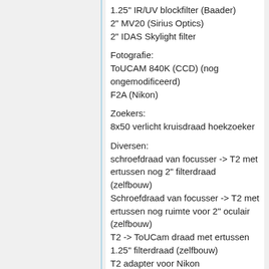1.25" IR/UV blockfilter (Baader)
2" MV20 (Sirius Optics)
2" IDAS Skylight filter
Fotografie:
ToUCAM 840K (CCD) (nog ongemodificeerd)
F2A (Nikon)
Zoekers:
8x50 verlicht kruisdraad hoekzoeker
Diversen:
schroefdraad van focusser -> T2 met ertussen nog 2" filterdraad (zelfbouw)
Schroefdraad van focusser -> T2 met ertussen nog ruimte voor 2" oculair (zelfbouw)
T2 -> ToUCam draad met ertussen 1.25" filterdraad (zelfbouw)
T2 adapter voor Nikon
1.25" -> 2" adapter (zelfbouw)